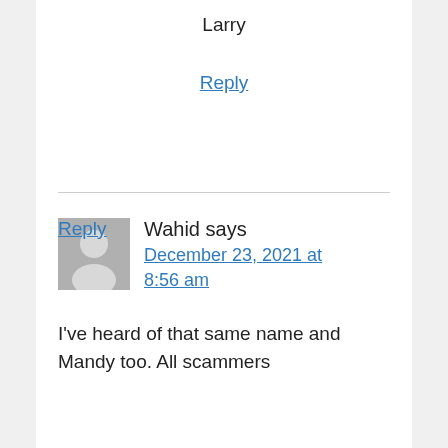Larry
Reply
Wahid says
December 23, 2021 at 8:56 am
I've heard of that same name and Mandy too. All scammers
Reply